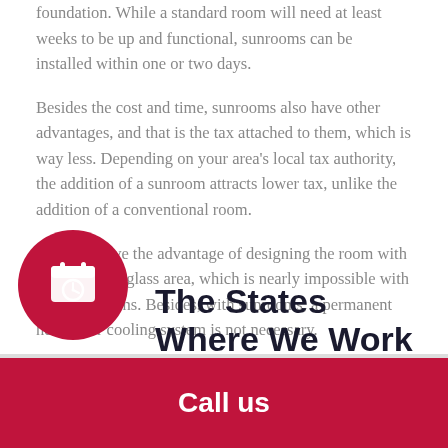foundation. While a standard room will need at least weeks to be up and functional, sunrooms can be installed within one or two days.
Besides the cost and time, sunrooms also have other advantages, and that is the tax attached to them, which is way less. Depending on your area's local tax authority, the addition of a sunroom attracts lower tax, unlike the addition of a conventional room.
You also have the advantage of designing the room with 65% or more glass area, which is nearly impossible with standard rooms. Besides, with sunrooms, a permanent heating or cooling system is not necessary.
[Figure (illustration): Red circular icon with a calendar and clock symbol]
The States Where We Work
Call us